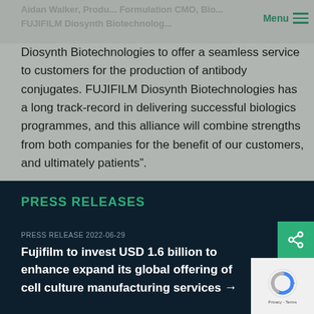Menu
Diosynth Biotechnologies to offer a seamless service to customers for the production of antibody conjugates. FUJIFILM Diosynth Biotechnologies has a long track-record in delivering successful biologics programmes, and this alliance will combine strengths from both companies for the benefit of our customers, and ultimately patients”.
PRESS RELEASES
PRESS RELEASE 2022-06-29
Fujifilm to invest USD 1.6 billion to enhance expand its global offering of cell culture manufacturing services →